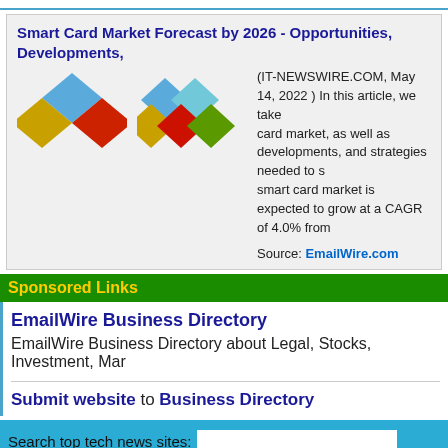Smart Card Market Forecast by 2026 - Opportunities, Developments,
(IT-NEWSWIRE.COM, May 14, 2022 ) In this article, we take a look at the smart card market, as well as developments, and strategies needed to succeed. The smart card market is expected to grow at a CAGR of 4.0% from
Source: EmailWire.com
Sponsored Links
EmailWire Business Directory
EmailWire Business Directory about Legal, Stocks, Investment, Mar
Submit website to Business Directory
Search top tech news sites:
[Figure (infographic): Yellow advertisement banner: Unlimited Press Release Distribution $999/YR With Guaranteed Results]